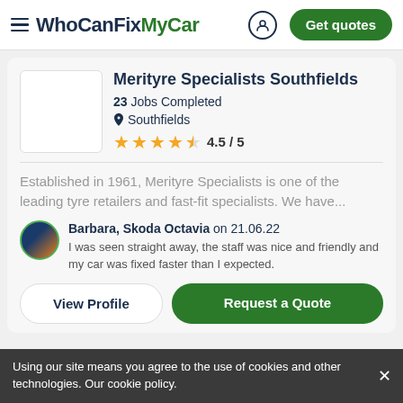WhoCanFixMyCar — Get quotes
Merityre Specialists Southfields
23 Jobs Completed
Southfields
4.5 / 5
Established in 1961, Merityre Specialists is one of the leading tyre retailers and fast-fit specialists. We have...
Barbara, Skoda Octavia on 21.06.22
I was seen straight away, the staff was nice and friendly and my car was fixed faster than I expected.
View Profile
Request a Quote
Using our site means you agree to the use of cookies and other technologies. Our cookie policy.